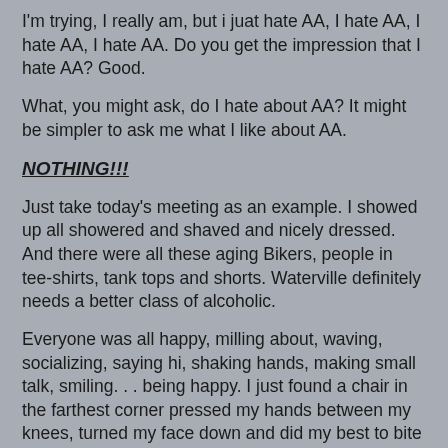I'm trying, I really am, but i juat hate AA, I hate AA, I hate AA, I hate AA. Do you get the impression that I hate AA? Good.
What, you might ask, do I hate about AA? It might be simpler to ask me what I like about AA.
NOTHING!!!
Just take today's meeting as an example. I showed up all showered and shaved and nicely dressed. And there were all these aging Bikers, people in tee-shirts, tank tops and shorts. Waterville definitely needs a better class of alcoholic.
Everyone was all happy, milling about, waving, socializing, saying hi, shaking hands, making small talk, smiling. . . being happy. I just found a chair in the farthest corner pressed my hands between my knees, turned my face down and did my best to bite back the tears that were already starting to come.
It was just like being back in elementary school.